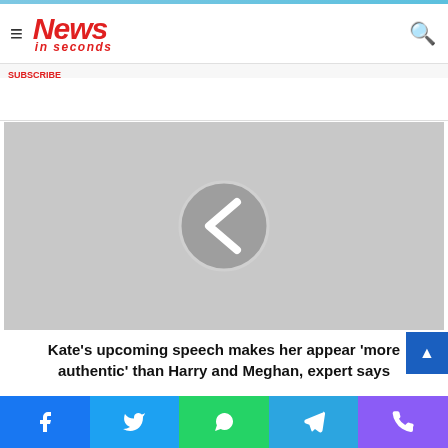News in seconds
[Figure (screenshot): Gray placeholder image with a circular left-arrow navigation button in the center]
Kate's upcoming speech makes her appear 'more authentic' than Harry and Meghan, expert says
Social share buttons: Facebook, Twitter, WhatsApp, Telegram, Phone